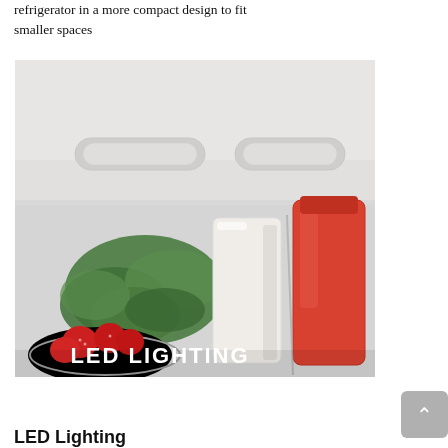refrigerator in a more compact design to fit smaller spaces
[Figure (photo): Interior of a refrigerator showing LED lighting, with vegetables, strawberries in a bowl, a white container, and a red/orange bottle. Overlay text reads 'LED LIGHTING'.]
LED Lighting